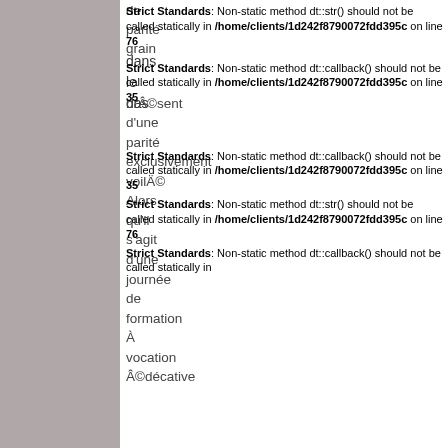Strict Standards: Non-static method dt::str() should not be called statically in /home/clients/1d242f8790072fdd395c on line 76
Strict Standards: Non-static method dt::callback() should not be called statically in /home/clients/1d242f8790072fdd395c on line 35
Strict Standards: Non-static method dt::callback() should not be called statically in /home/clients/1d242f8790072fdd395c on line 35
Strict Standards: Non-static method dt::str() should not be called statically in /home/clients/1d242f8790072fdd395c on line 76
Strict Standards: Non-static method dt::callback() should not be called statically in